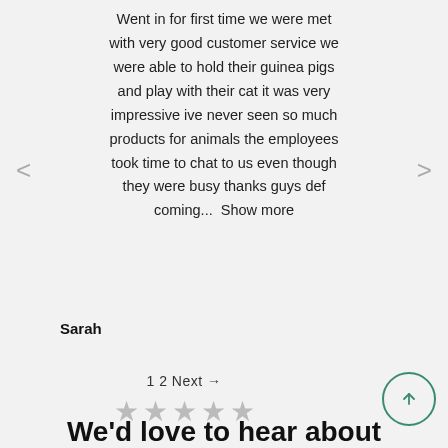Went in for first time we were met with very good customer service we were able to hold their guinea pigs and play with their cat it was very impressive ive never seen so much products for animals the employees took time to chat to us even though they were busy thanks guys def coming...  Show more
Sarah
1 2 Next →
[Figure (other): Five gray star rating icons in a row]
We'd love to hear about